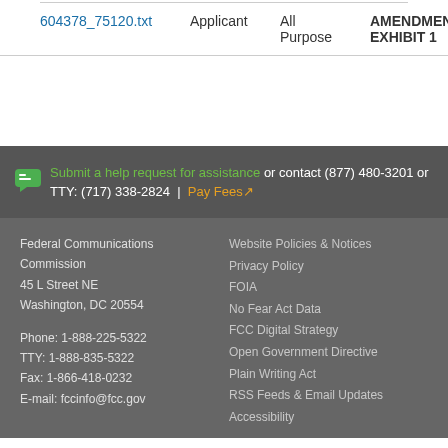|  | Applicant | All Purpose | AMENDMENT EXHIBIT 1 |
| --- | --- | --- | --- |
| 604378_75120.txt | Applicant | All Purpose | AMENDMENT EXHIBIT 1 |
Submit a help request for assistance or contact (877) 480-3201 or TTY: (717) 338-2824 | Pay Fees
Federal Communications Commission
45 L Street NE
Washington, DC 20554

Phone: 1-888-225-5322
TTY: 1-888-835-5322
Fax: 1-866-418-0232
E-mail: fccinfo@fcc.gov
Website Policies & Notices
Privacy Policy
FOIA
No Fear Act Data
FCC Digital Strategy
Open Government Directive
Plain Writing Act
RSS Feeds & Email Updates
Accessibility